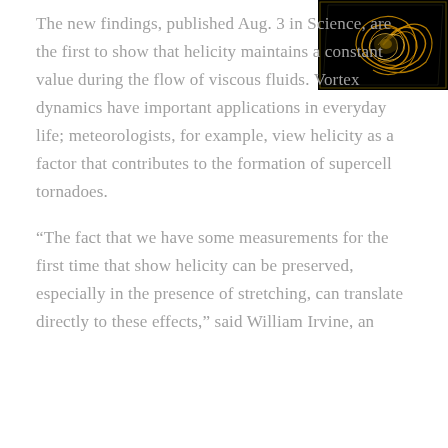[Figure (photo): Scientific visualization image showing golden/orange swirling vortex structure on black background, top-right corner of page]
The new findings, published Aug. 3 in Science, are the first to show that helicity maintains a constant value during the flow of viscous fluids. Vortex dynamics have important applications in everyday life; meteorologists, for example, view helicity as a factor that contributes to the formation of supercell tornadoes.
“The fact that we have some measurements for the first time that show helicity can be preserved, especially in the presence of stretching, can translate directly to these effects,” said William Irvine, an